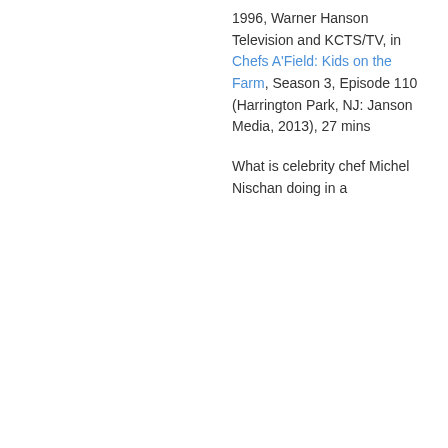1996, Warner Hanson Television and KCTS/TV, in Chefs A'Field: Kids on the Farm, Season 3, Episode 110 (Harrington Park, NJ: Janson Media, 2013), 27 mins
What is celebrity chef Michel Nischan doing in a